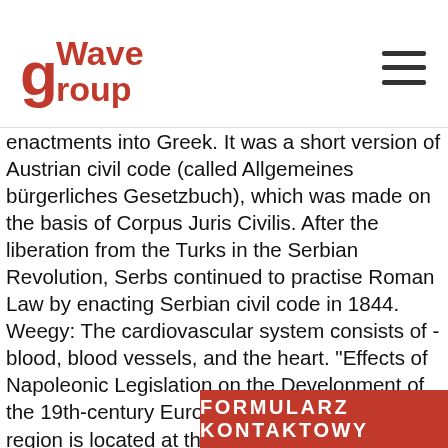Wave Group logo and hamburger menu
enactments into Greek. It was a short version of Austrian civil code (called Allgemeines bürgerliches Gesetzbuch), which was made on the basis of Corpus Juris Civilis. After the liberation from the Turks in the Serbian Revolution, Serbs continued to practise Roman Law by enacting Serbian civil code in 1844. Weegy: The cardiovascular system consists of - blood, blood vessels, and the heart. "Effects of Napoleonic Legislation on the Development of the 19th-century Europe. The oesophageal region is located at the entrance of the stomach from the oesophagus. Weegy: An ocean wave is an example of a surface wave. This revived Roman law, in turn, became the foundation of law in all civil law jurisdictions. The cardiovascular system consists of A. blood, blood vessels, … An object has a mass of 120 kg on the moon. Nutrient absorption continues into the final section of the small intestine, the ileum. H. Blume used the best-regarded Latin editions for his translations of the Code and of the Novels. Upon leaving the duodenum, enters the middle portion of the small intestine, the jejunum. The ... ce of law, true or false.
FORMULARZ KONTAKTOWY